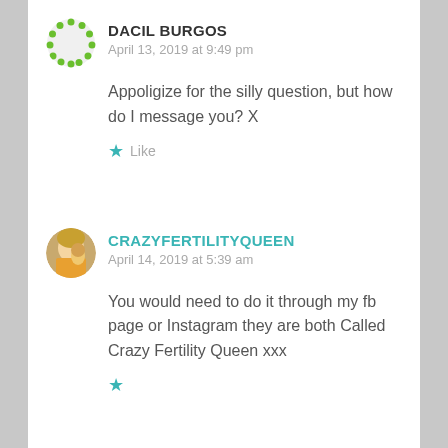DACIL BURGOS
April 13, 2019 at 9:49 pm
Appoligize for the silly question, but how do I message you? X
Like
CRAZYFERTILITYQUEEN
April 14, 2019 at 5:39 am
You would need to do it through my fb page or Instagram they are both Called Crazy Fertility Queen xxx